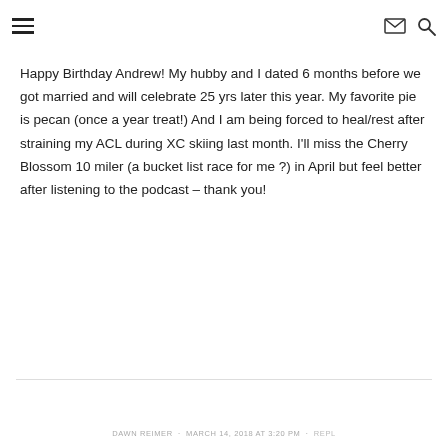☰  ✉ 🔍
Happy Birthday Andrew! My hubby and I dated 6 months before we got married and will celebrate 25 yrs later this year. My favorite pie is pecan (once a year treat!) And I am being forced to heal/rest after straining my ACL during XC skiing last month. I'll miss the Cherry Blossom 10 miler (a bucket list race for me ?) in April but feel better after listening to the podcast – thank you!
DAWN REIMER · MARCH 14, 2018 AT 3:20 PM · REPLY